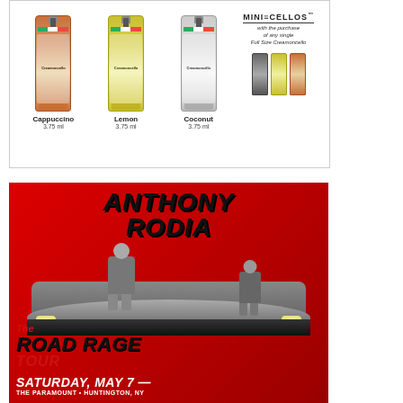[Figure (photo): Advertisement for Mini Cellos Creamoncello mini bottles showing three flavors: Cappuccino 3.75ml, Lemon 3.75ml, Coconut 3.75ml, with text 'with the purchase of any single Full Size Creamoncello']
[Figure (photo): Concert/tour poster for Anthony Rodia 'The Road Rage Tour' on Saturday, May 7. Red background with two people sitting on the hood of a car. Large bold black text for artist name and tour name.]